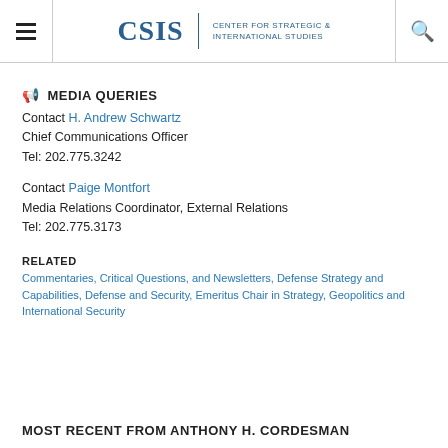CSIS | CENTER FOR STRATEGIC & INTERNATIONAL STUDIES
MEDIA QUERIES
Contact H. Andrew Schwartz
Chief Communications Officer
Tel: 202.775.3242
Contact Paige Montfort
Media Relations Coordinator, External Relations
Tel: 202.775.3173
RELATED
Commentaries, Critical Questions, and Newsletters, Defense Strategy and Capabilities, Defense and Security, Emeritus Chair in Strategy, Geopolitics and International Security
MOST RECENT FROM ANTHONY H. CORDESMAN